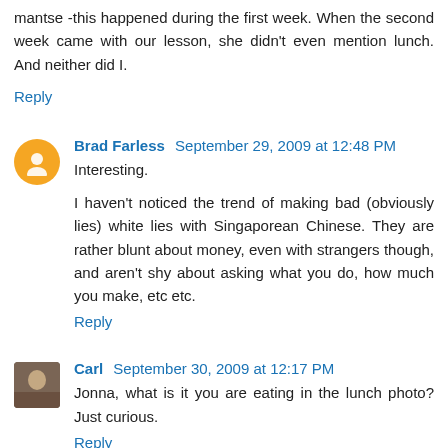mantse -this happened during the first week. When the second week came with our lesson, she didn't even mention lunch. And neither did I.
Reply
Brad Farless  September 29, 2009 at 12:48 PM
Interesting.
I haven't noticed the trend of making bad (obviously lies) white lies with Singaporean Chinese. They are rather blunt about money, even with strangers though, and aren't shy about asking what you do, how much you make, etc etc.
Reply
Carl  September 30, 2009 at 12:17 PM
Jonna, what is it you are eating in the lunch photo? Just curious.
Reply